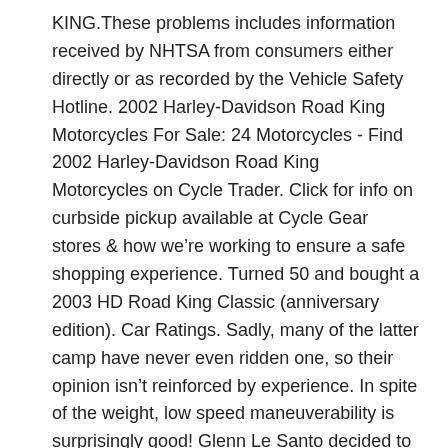KING.These problems includes information received by NHTSA from consumers either directly or as recorded by the Vehicle Safety Hotline. 2002 Harley-Davidson Road King Motorcycles For Sale: 24 Motorcycles - Find 2002 Harley-Davidson Road King Motorcycles on Cycle Trader. Click for info on curbside pickup available at Cycle Gear stores & how we're working to ensure a safe shopping experience. Turned 50 and bought a 2003 HD Road King Classic (anniversary edition). Car Ratings. Sadly, many of the latter camp have never even ridden one, so their opinion isn't reinforced by experience. In spite of the weight, low speed maneuverability is surprisingly good! Glenn Le Santo decided to find out the hard way. $109.90. 1 in stock. You will feel that weight pushing the bike during parking or if you tip it off center at all. Prices by Powersports Type. Everything you need to know about the 2002 Harley-Davidson FLHR Road King Including Pictures, specifications, videos and reviews - Ground clearance: 130 mm (5.1 inches) Compare. One of the most beautiful, classic motorcycles on the road. 1995: Quick-release catches added to panniers. Read Reviews. Get free shipping, 4% cashback